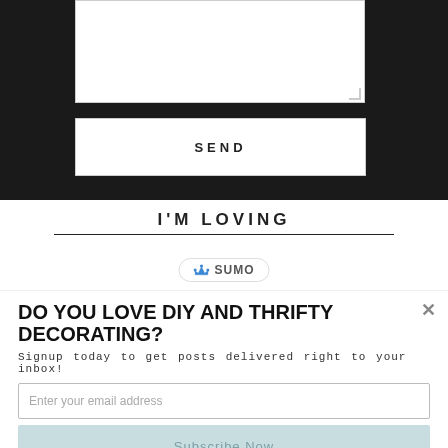[Figure (screenshot): Black form area with textarea and SEND button]
I'M LOVING
[Figure (logo): Sumo badge with crown icon]
DO YOU LOVE DIY AND THRIFTY DECORATING?
Signup today to get posts delivered right to your inbox!
[Figure (screenshot): Email input field: Enter your email address]
[Figure (screenshot): Subscribe Now button]